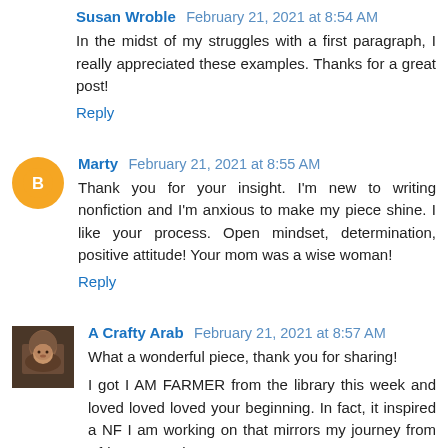Susan Wroble  February 21, 2021 at 8:54 AM
In the midst of my struggles with a first paragraph, I really appreciated these examples. Thanks for a great post!
Reply
Marty  February 21, 2021 at 8:55 AM
Thank you for your insight. I'm new to writing nonfiction and I'm anxious to make my piece shine. I like your process. Open mindset, determination, positive attitude! Your mom was a wise woman!
Reply
A Crafty Arab  February 21, 2021 at 8:57 AM
What a wonderful piece, thank you for sharing!
I got I AM FARMER from the library this week and loved loved loved your beginning. In fact, it inspired a NF I am working on that mirrors my journey from Africa to America.